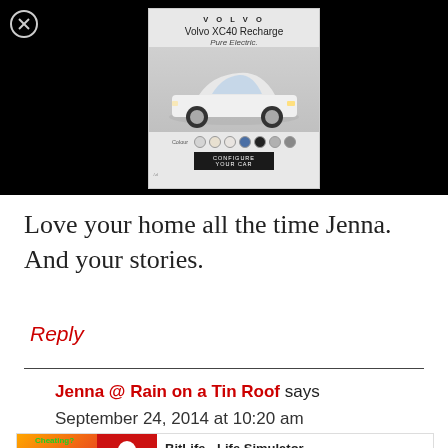[Figure (screenshot): Black background area with a Volvo XC40 Recharge advertisement banner showing the car, color swatches, and a CTA button]
Love your home all the time Jenna. And your stories.
Reply
Jenna @ Rain on a Tin Roof says
September 24, 2014 at 10:20 am
[Figure (screenshot): Bottom advertisement banner for BitLife - Life Simulator app showing Ad label, app icon, app name, and Install button]